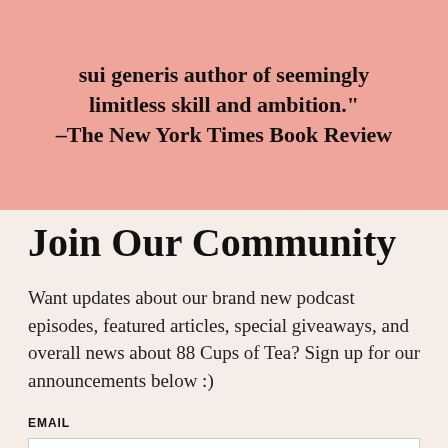[Figure (other): Pink banner with bold quote text: 'sui generis author of seemingly limitless skill and ambition.' –The New York Times Book Review]
Join Our Community
Want updates about our brand new podcast episodes, featured articles, special giveaways, and overall news about 88 Cups of Tea? Sign up for our announcements below :)
EMAIL
Email